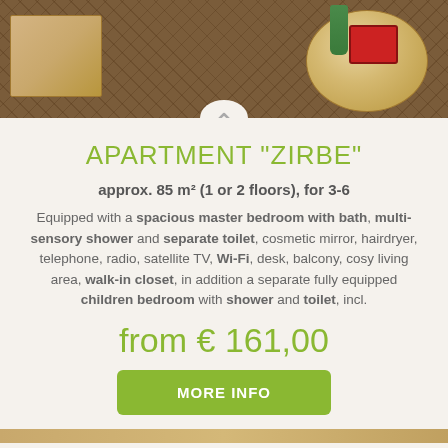[Figure (photo): Top photo showing wooden furniture, patterned floor, round wooden table with red card and green vase]
APARTMENT "ZIRBE"
approx. 85 m² (1 or 2 floors), for 3-6
Equipped with a spacious master bedroom with bath, multi-sensory shower and separate toilet, cosmetic mirror, hairdryer, telephone, radio, satellite TV, Wi-Fi, desk, balcony, cosy living area, walk-in closet, in addition a separate fully equipped children bedroom with shower and toilet, incl.
from € 161,00
MORE INFO
[Figure (photo): Bottom strip photo of wooden interior]